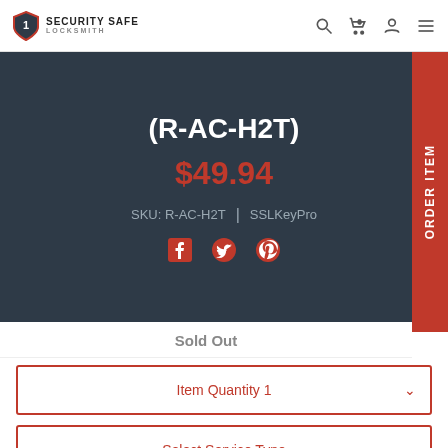Security Safe Locksmith
(R-AC-H2T)
$49.94
SKU: R-AC-H2T | SSLKeyPro
[Figure (illustration): Social media icons: Facebook, Twitter, Pinterest]
Sold Out
Item Quantity 1
Select Service Type
Sold Out